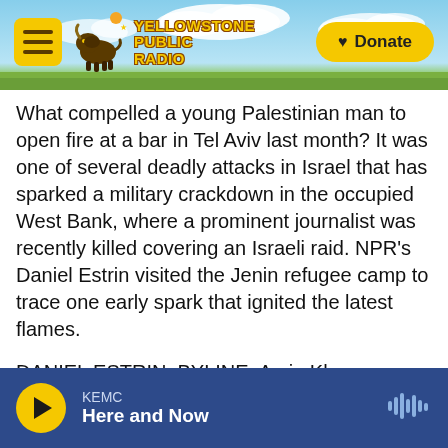[Figure (screenshot): Yellowstone Public Radio website header with menu button, buffalo logo, YPR branding, sky/cloud background with green grass strip, and yellow Donate button]
What compelled a young Palestinian man to open fire at a bar in Tel Aviv last month? It was one of several deadly attacks in Israel that has sparked a military crackdown in the occupied West Bank, where a prominent journalist was recently killed covering an Israeli raid. NPR's Daniel Estrin visited the Jenin refugee camp to trace one early spark that ignited the latest flames.
DANIEL ESTRIN, BYLINE: Amin Khazem invites us to his rooftop porch in the Jenin refugee camp.
From your rooftop, you can see the whole camp.
KEMC — Here and Now